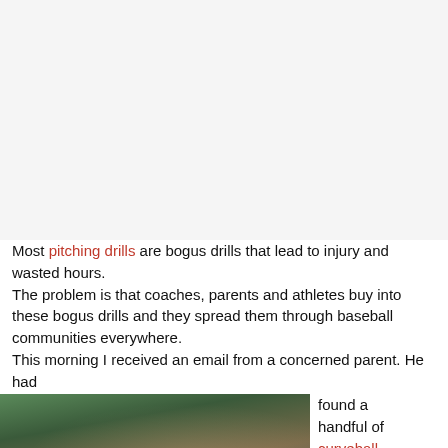Most pitching drills are bogus drills that lead to injury and wasted hours.
The problem is that coaches, parents and athletes buy into these bogus drills and they spread them through baseball communities everywhere.
This morning I received an email from a concerned parent. He had found a handful of curveball
[Figure (photo): Baseball pitcher in red uniform in mid-throw, blurred crowd in background]